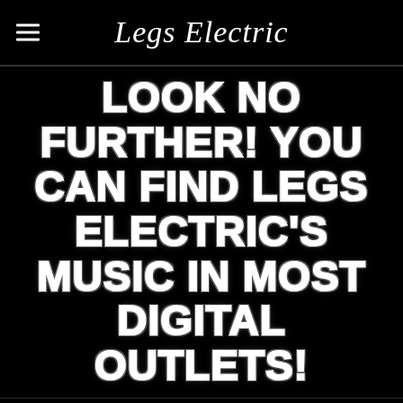Legs Electric
LOOK NO FURTHER! YOU CAN FIND LEGS ELECTRIC'S MUSIC IN MOST DIGITAL OUTLETS!
6/10/2015  0 Comments
If you're looking for Legs Electric music, you can find it at iTunes, Spotify, Pandora, Soundcloud, YouTube and most other digital outlets. Copies of our EP can be purchased through Bandcamp and also at our shows.#maximumrocknroll